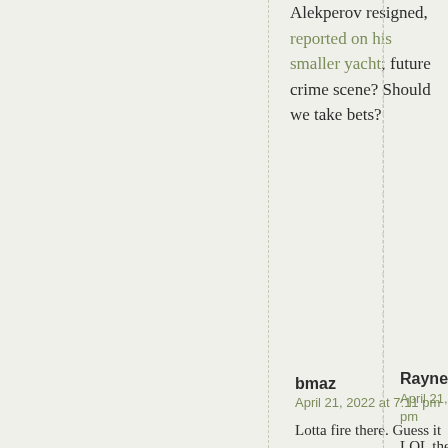Alekperov resigned, reported on his smaller yacht; future crime scene? Should we take bets?
bmaz
April 21, 2022 at 7:11 pm
Lotta fire there. Guess it is the dry season.
Rayne
April 21, 2022 at 7:18 pm
LOL they were